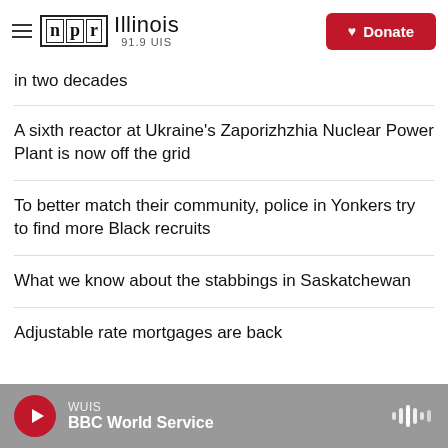NPR Illinois 91.9 UIS — Donate
in two decades
A sixth reactor at Ukraine's Zaporizhzhia Nuclear Power Plant is now off the grid
To better match their community, police in Yonkers try to find more Black recruits
What we know about the stabbings in Saskatchewan
Adjustable rate mortgages are back
WUIS — BBC World Service